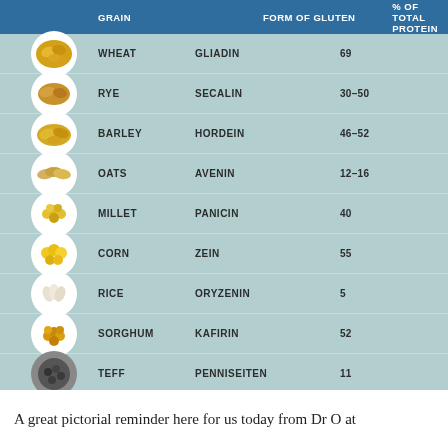[Figure (infographic): Table-style infographic showing grains, their form of gluten, and percentage of total protein. Rows include: Wheat/Gliadin/69, Rye/Secalin/30-50, Barley/Hordein/46-52, Oats/Avenin/12-16, Millet/Panicin/40, Corn/Zein/55, Rice/Oryzenin/5, Sorghum/Kafirin/52, Teff/Penniseiten/11. Each row has a circular grain photo icon.]
A great pictorial reminder here for us today from Dr O at